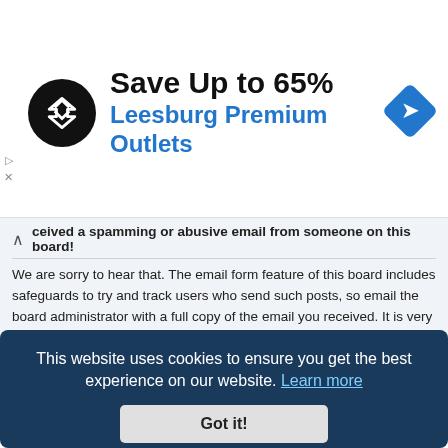[Figure (infographic): Advertisement banner: 'Save Up to 65% Leesburg Premium Outlets' with a black circular logo featuring a double-arrow symbol, a blue diamond navigation icon on the right, and ad control arrows on the left.]
ceived a spamming or abusive email from someone on this board! We are sorry to hear that. The email form feature of this board includes safeguards to try and track users who send such posts, so email the board administrator with a full copy of the email you received. It is very important that this includes the headers that contain the details of the user that sent the email. The board administrator can then take action.
Top
Friends and Foes
This website uses cookies to ensure you get the best experience on our website. Learn more
Got it!